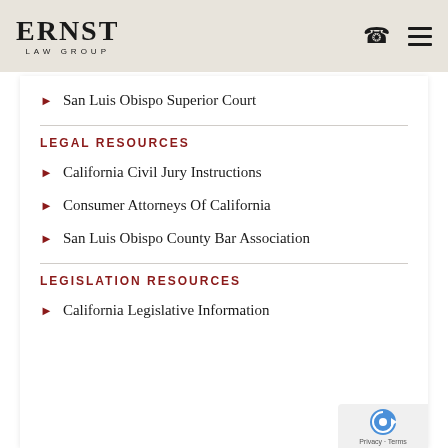ERNST LAW GROUP
San Luis Obispo Superior Court
LEGAL RESOURCES
California Civil Jury Instructions
Consumer Attorneys Of California
San Luis Obispo County Bar Association
LEGISLATION RESOURCES
California Legislative Information